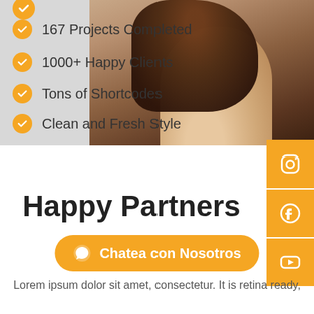[Figure (photo): Background image with a woman's shoulder and brown hair visible on the right side of the upper portion]
167 Projects Completed
1000+ Happy Clients
Tons of Shortcodes
Clean and Fresh Style
[Figure (illustration): Instagram social media button (orange square with Instagram icon)]
[Figure (illustration): Facebook social media button (orange square with Facebook icon)]
[Figure (illustration): YouTube social media button (orange square with YouTube play icon)]
Happy Partners
Gaze is a simple and ele
Lorem ipsum dolor sit amet, consectetur. It is retina ready,
Chatea con Nosotros